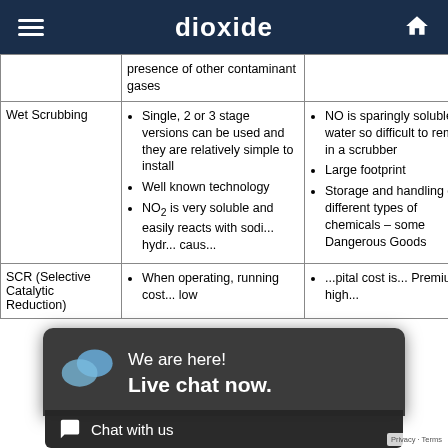dioxide
|  | Advantages | Disadvantages |
| --- | --- | --- |
|  | presence of other contaminant gases |  |
| Wet Scrubbing | Single, 2 or 3 stage versions can be used and they are relatively simple to install
Well known technology
NO2 is very soluble and easily reacts with sodium hydroxide causing... | NO is sparingly soluble in water so difficult to remove in a scrubber
Large footprint
Storage and handling of different types of chemicals – some Dangerous Goods |
| SCR (Selective Catalytic Reduction) | When operating, running costs are low | Capital cost is... Premium high... |